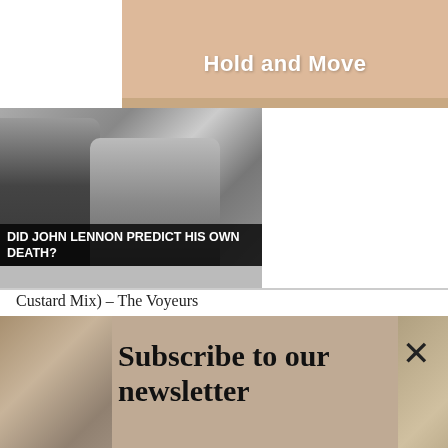[Figure (screenshot): Top peach/salmon colored game advertisement banner with 'Hold and Move' text in white bold font, with a small game icon above]
[Figure (photo): Black and white thumbnail photo of a woman (Yoko Ono) with another person in the background, with caption overlay 'DID JOHN LENNON PREDICT HIS OWN DEATH?']
Custard Mix) – The Voyeurs
[Figure (screenshot): Newsletter subscription banner with sandy/stone texture background, large serif text 'Subscribe to our newsletter', email input field with placeholder 'Your e-mail address' and 'SIGN UP' button, with X close button]
The title track of the Voyeurs second album, remixed
[Figure (screenshot): Bottom advertisement for BitLife game app with red/fire background, cartoon character, 'FAIL' text, fire emoji, BitLife logo with question mark, and 'START A NEW LIFE' tagline]